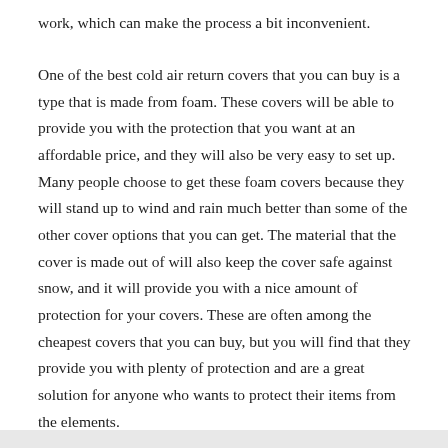work, which can make the process a bit inconvenient.
One of the best cold air return covers that you can buy is a type that is made from foam. These covers will be able to provide you with the protection that you want at an affordable price, and they will also be very easy to set up. Many people choose to get these foam covers because they will stand up to wind and rain much better than some of the other cover options that you can get. The material that the cover is made out of will also keep the cover safe against snow, and it will provide you with a nice amount of protection for your covers. These are often among the cheapest covers that you can buy, but you will find that they provide you with plenty of protection and are a great solution for anyone who wants to protect their items from the elements.